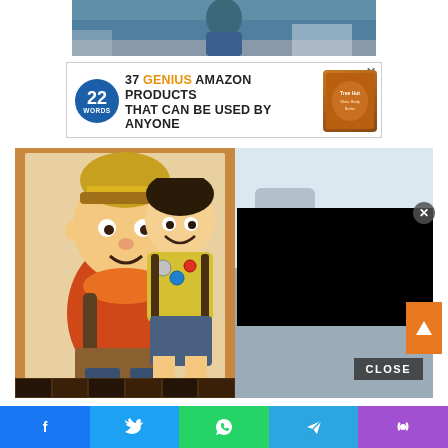[Figure (photo): Top partial photo showing a person in a blue shirt in a room with gray flooring and white furniture]
[Figure (infographic): Advertisement banner: '22 Words - 37 GENIUS AMAZON PRODUCTS THAT CAN BE USED BY ANYONE' with product image on right and X close button]
[Figure (photo): Main composite image: left side shows cartoon Russell character from Pixar's UP next to a real child dressed as Russell in yellow shirt with badges and backpack; right side shows another photo partially obscured by a black video player overlay with a CLOSE button]
[Figure (screenshot): Bottom social sharing bar with Facebook, Twitter, WhatsApp, Telegram, and phone icons on colored backgrounds]